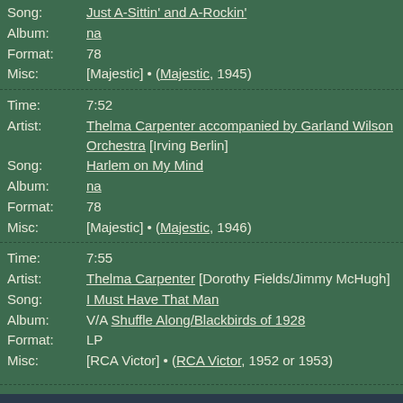Song: Just A-Sittin' and A-Rockin' | Album: na | Format: 78 | Misc: [Majestic] • (Majestic, 1945)
Time: 7:52 | Artist: Thelma Carpenter accompanied by Garland Wilson Orchestra [Irving Berlin] | Song: Harlem on My Mind | Album: na | Format: 78 | Misc: [Majestic] • (Majestic, 1946)
Time: 7:55 | Artist: Thelma Carpenter [Dorothy Fields/Jimmy McHugh] | Song: I Must Have That Man | Album: V/A Shuffle Along/Blackbirds of 1928 | Format: LP | Misc: [RCA Victor] • (RCA Victor, 1952 or 1953)